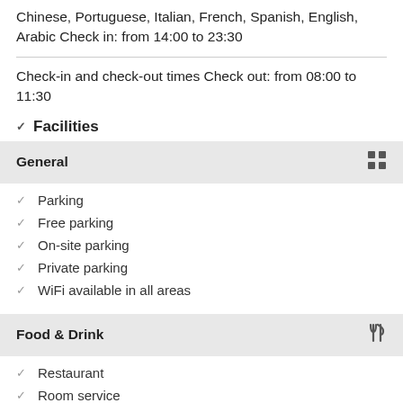Chinese, Portuguese, Italian, French, Spanish, English, Arabic Check in: from 14:00 to 23:30
Check-in and check-out times Check out: from 08:00 to 11:30
Facilities
General
Parking
Free parking
On-site parking
Private parking
WiFi available in all areas
Food & Drink
Restaurant
Room service